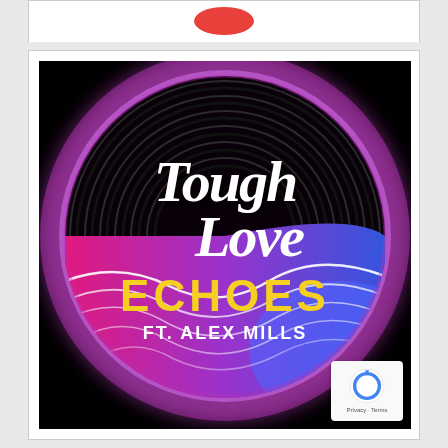[Figure (illustration): Album artwork for 'Echoes' by Tough Love ft. Alex Mills. Black background with a vinyl record graphic featuring concentric black and white rings in the upper half and colorful pink/purple/blue wave patterns in the lower half. 'Tough Love' written in large white cursive script, 'ECHOES' in bold yellow text, and 'FT. ALEX MILLS' in white text below. A reCAPTCHA badge is visible in the bottom right corner.]